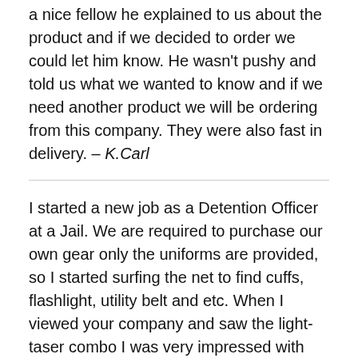a nice fellow he explained to us about the product and if we decided to order we could let him know. He wasn't pushy and told us what we wanted to know and if we need another product we will be ordering from this company. They were also fast in delivery. – K.Carl
I started a new job as a Detention Officer at a Jail. We are required to purchase our own gear only the uniforms are provided, so I started surfing the net to find cuffs, flashlight, utility belt and etc. When I viewed your company and saw the light-taser combo I was very impressed with the idea and thought that would serve two items in one…the old saying….kill to birds with one stone….and make my